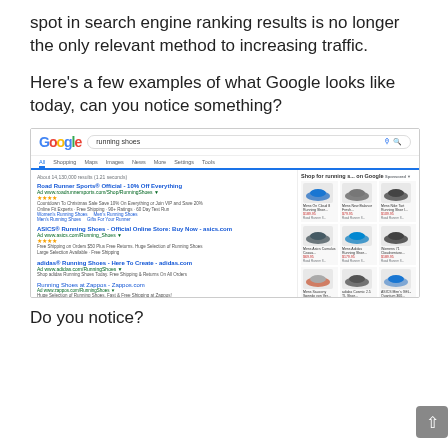spot in search engine ranking results is no longer the only relevant method to increasing traffic.
Here’s a few examples of what Google looks like today, can you notice something?
[Figure (screenshot): Screenshot of a Google search results page for 'running shoes', showing sponsored ads on the left (Road Runner Sports, ASICS, adidas, Zappos, Runner's World) and a shopping panel on the right with product images and prices for various running shoes, plus a Google Maps section at the bottom left.]
Do you notice?